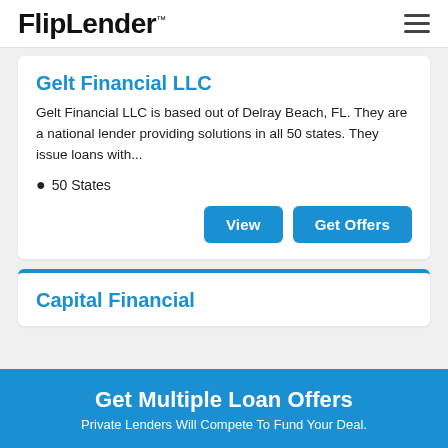FlipLender™
Gelt Financial LLC
Gelt Financial LLC is based out of Delray Beach, FL. They are a national lender providing solutions in all 50 states. They issue loans with...
📍 50 States
View | Get Offers
Capital Financial
Get Multiple Loan Offers
Private Lenders Will Compete To Fund Your Deal.